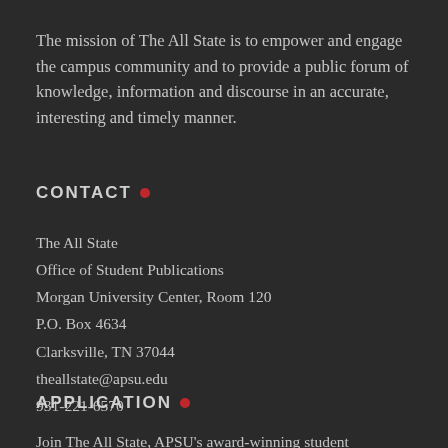The mission of The All State is to empower and engage the campus community and to provide a public forum of knowledge, information and discourse in an accurate, interesting and timely manner.
CONTACT
The All State
Office of Student Publications
Morgan University Center, Room 120
P.O. Box 4634
Clarksville, TN 37044
theallstate@apsu.edu
931-221-6570
APPLICATION
Join The All State, APSU's award-winning student newspaper. We